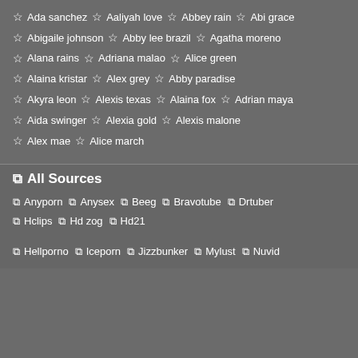Ada sanchez  Aaliyah love  Abbey rain  Abi grace
Abigaile johnson  Abby lee brazil  Agatha moreno
Alana rains  Adriana malao  Alice green
Alaina kristar  Alex grey  Abby paradise
Akyra leon  Alexis texas  Alaina fox  Adrian maya
Aida swinger  Alexia gold  Alexis malone
Alex mae  Alice march
All Sources
Anyporn  Anysex  Beeg  Bravotube  Drtuber
Hclips  Hd zog  Hd21
Hellporno  Iceporn  Jizzbunker  Mylust  Nuvid